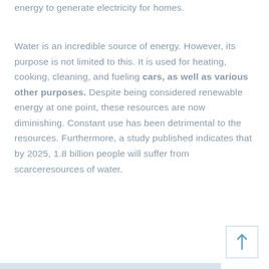energy to generate electricity for homes.
Water is an incredible source of energy. However, its purpose is not limited to this. It is used for heating, cooking, cleaning, and fueling cars, as well as various other purposes. Despite being considered renewable energy at one point, these resources are now diminishing. Constant use has been detrimental to the resources. Furthermore, a study published indicates that by 2025, 1.8 billion people will suffer from scarceresources of water.